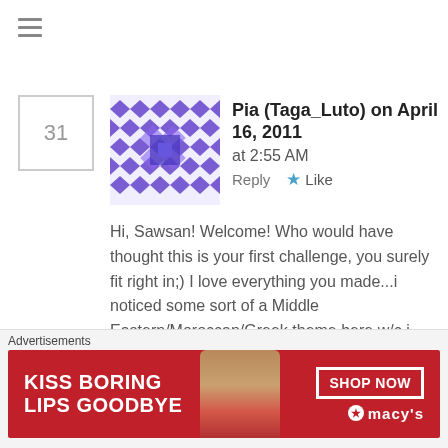≡ (menu icon)
31
[Figure (illustration): Purple geometric patchwork avatar with diamond/square pattern in blue and purple tones]
Pia (Taga_Luto) on April 16, 2011 at 2:55 AM   Reply  ★ Like
Hi, Sawsan! Welcome! Who would have thought this is your first challenge, you surely fit right in;) I love everything you made...i noticed some sort of a Middle Eastern/Moroccan/Greek theme here w/c i totally love. I love haloumi and i like how you stuffed them in peppers and your kofta are gorgeous!
thefooddoctor on April 16, 201...
Advertisements
[Figure (photo): Macy's advertisement banner: red background with woman's face showing lips with lipstick, text KISS BORING LIPS GOODBYE, SHOP NOW button, Macy's star logo]